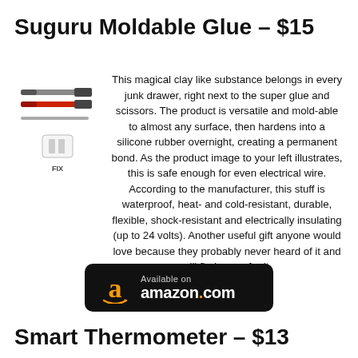Suguru Moldable Glue – $15
[Figure (photo): Product photo of Suguru moldable glue showing cable repairs with red and grey cables, and a USB connector labeled FIX]
This magical clay like substance belongs in every junk drawer, right next to the super glue and scissors. The product is versatile and mold-able to almost any surface, then hardens into a silicone rubber overnight, creating a permanent bond. As the product image to your left illustrates, this is safe enough for even electrical wire. According to the manufacturer, this stuff is waterproof, heat- and cold-resistant, durable, flexible, shock-resistant and electrically insulating (up to 24 volts). Another useful gift anyone would love because they probably never heard of it and will find a use for it.
[Figure (logo): Available on amazon.com button with Amazon logo and orange smile]
Smart Thermometer – $13